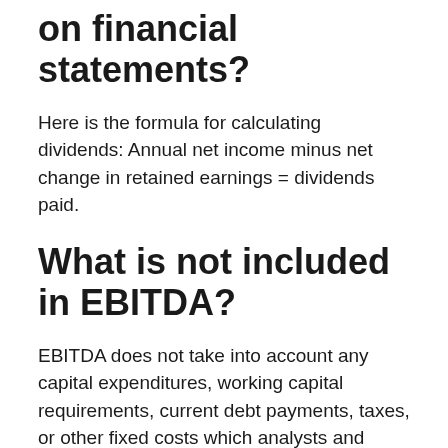on financial statements?
Here is the formula for calculating dividends: Annual net income minus net change in retained earnings = dividends paid.
What is not included in EBITDA?
EBITDA does not take into account any capital expenditures, working capital requirements, current debt payments, taxes, or other fixed costs which analysts and buyers should not ignore.
Do you subtract dividends from net income?